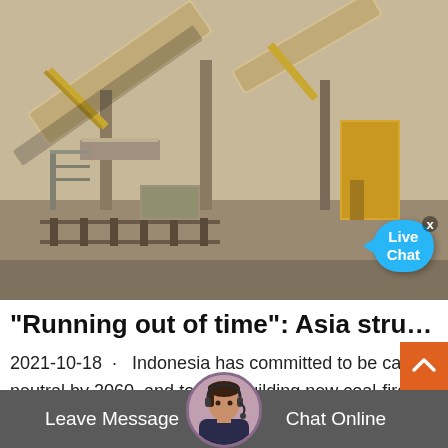[Figure (photo): Aerial view of a coal processing facility with large conveyor belts, cranes, and industrial machinery. A 'Live Chat' speech bubble overlay is visible in the lower right of the image with a close X button above it.]
"Running out of time": Asia struggles t...
2021-10-18 · Indonesia has committed to be carbon neutral by 2060, and to stop building new coal-fired plants from 2023, but despite this — the facility is undergoing a $3 billion expansion that will
Leave Message   Chat Online